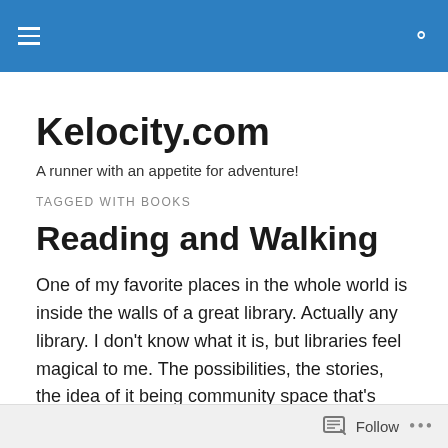Kelocity.com navigation bar
Kelocity.com
A runner with an appetite for adventure!
TAGGED WITH BOOKS
Reading and Walking
One of my favorite places in the whole world is inside the walls of a great library. Actually any library. I don't know what it is, but libraries feel magical to me. The possibilities, the stories, the idea of it being community space that's
Follow ...